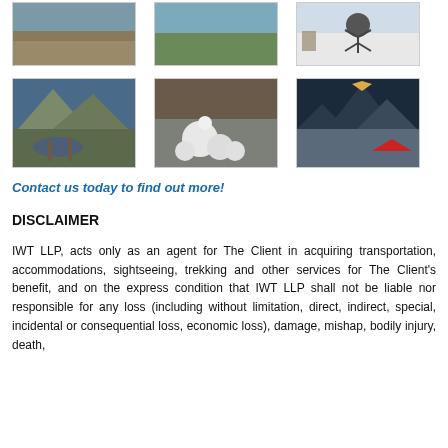[Figure (photo): Mountain landscape with snow-capped peaks and valley]
[Figure (photo): Mountain landscape with green hills and sky]
[Figure (photo): Person standing in snow with arms raised in snowy field with bare tree]
[Figure (photo): Rocky mountain stream with large boulders and mountain in background]
[Figure (photo): Snowman built from snow balls on snowy ground]
[Figure (photo): Mountain at dusk or dawn with red tent in foreground on snowy ground]
Contact us today to find out more!
DISCLAIMER
IWT LLP, acts only as an agent for The Client in acquiring transportation, accommodations, sightseeing, trekking and other services for The Client's benefit, and on the express condition that IWT LLP shall not be liable nor responsible for any loss (including without limitation, direct, indirect, special, incidental or consequential loss, economic loss), damage, mishap, bodily injury, death,